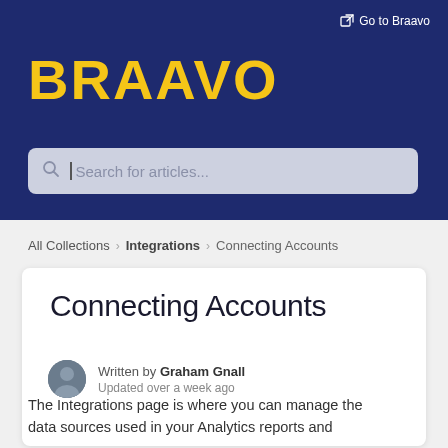Go to Braavo
BRAAVO
Search for articles...
All Collections > Integrations > Connecting Accounts
Connecting Accounts
Written by Graham Gnall
Updated over a week ago
The Integrations page is where you can manage the data sources used in your Analytics reports and